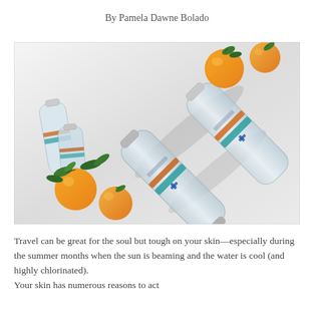By Pamela Dawne Bolado
[Figure (photo): Overhead flat-lay photo of several clear glass water bottles with labels (appearing to read 'ACQUA PANNA' or similar) arranged diagonally on a white textured surface, surrounded by fresh mandarin oranges with green leaves.]
Travel can be great for the soul but tough on your skin—especially during the summer months when the sun is beaming and the water is cool (and highly chlorinated).
Your skin has numerous reasons to act